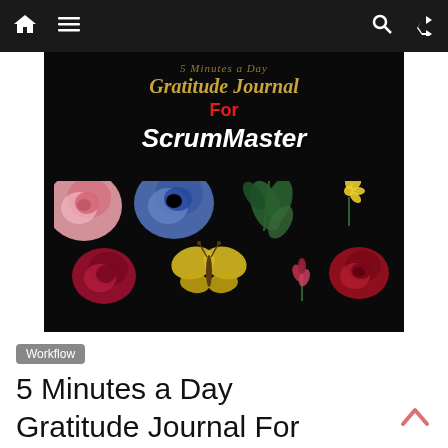Navigation bar with home, menu, search, and shuffle icons
[Figure (illustration): Book cover on black background: gold italic script text 'Gratitude Journal' and partial subtitle above, red bold 'For', white italic bold 'ScrumMaster', decorative botanical illustrations including pink rose, blue peony, green leaves/plant, yellow daisy, dark red roses, yellow butterfly, and red flowers on black background]
Workflow
5 Minutes a Day Gratitude Journal For